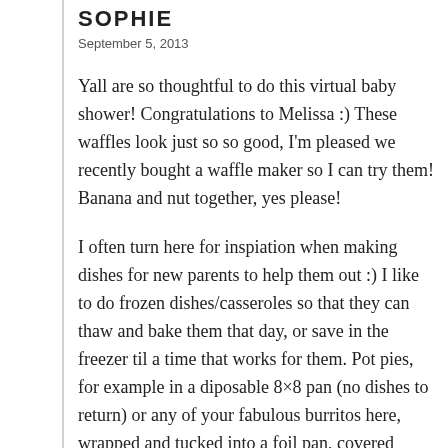SOPHIE
September 5, 2013
Yall are so thoughtful to do this virtual baby shower! Congratulations to Melissa :) These waffles look just so so good, I'm pleased we recently bought a waffle maker so I can try them! Banana and nut together, yes please!
I often turn here for inspiation when making dishes for new parents to help them out :) I like to do frozen dishes/casseroles so that they can thaw and bake them that day, or save in the freezer til a time that works for them. Pot pies, for example in a diposable 8×8 pan (no dishes to return) or any of your fabulous burritos here, wrapped and tucked into a foil pan, covered tightly and frozen — maybe with a can of good enchilada sauce or a homemade sauce if it would reheat well from frozen —